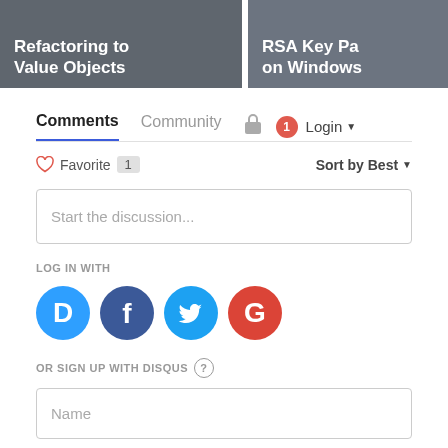[Figure (screenshot): Two article card thumbnails: 'Refactoring to Value Objects' on grey background, and 'RSA Key Pa... on Windows' partially visible on right]
Comments
Community
Login
♡ Favorite 1
Sort by Best
Start the discussion...
LOG IN WITH
[Figure (logo): Social login icons: Disqus (blue D), Facebook (dark blue f), Twitter (light blue bird), Google (red G)]
OR SIGN UP WITH DISQUS ?
Name